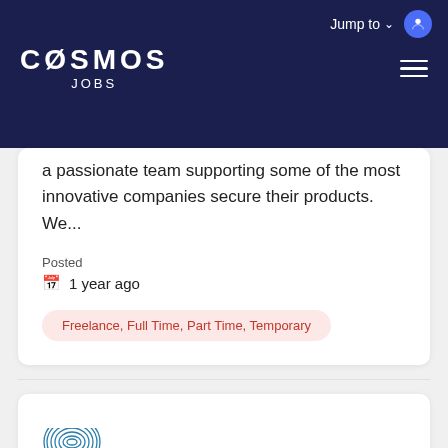COSMOS JOBS — Jump to
a passionate team supporting some of the most innovative companies secure their products. We...
Posted
1 year ago
Freelance, Full Time, Part Time, Temporary
[Figure (logo): Circular fingerprint-style logo at bottom of page]